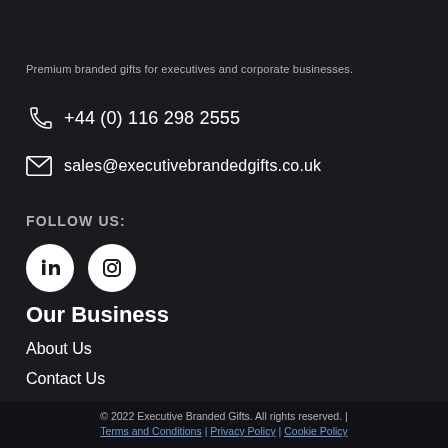Premium branded gifts for executives and corporate businesses.
+44 (0) 116 298 2555
sales@executivebrandedgifts.co.uk
FOLLOW US:
[Figure (logo): LinkedIn and Instagram social media circular icons]
Our Business
About Us
Contact Us
Blog
© 2022 Executive Branded Gifts. All rights reserved. | Terms and Conditions | Privacy Policy | Cookie Policy